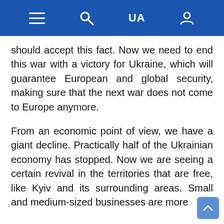≡ 🔍 UA 👤
should accept this fact. Now we need to end this war with a victory for Ukraine, which will guarantee European and global security, making sure that the next war does not come to Europe anymore.
From an economic point of view, we have a giant decline. Practically half of the Ukrainian economy has stopped. Now we are seeing a certain revival in the territories that are free, like Kyiv and its surrounding areas. Small and medium-sized businesses are more